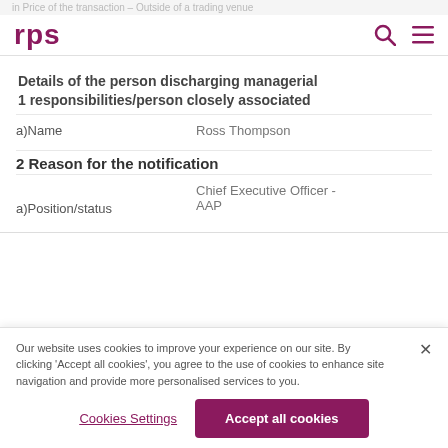in Price of the transaction - Outside of a trading venue
rps
1 Details of the person discharging managerial responsibilities/person closely associated
a)Name — Ross Thompson
2 Reason for the notification
a)Position/status — Chief Executive Officer - AAP
Our website uses cookies to improve your experience on our site. By clicking 'Accept all cookies', you agree to the use of cookies to enhance site navigation and provide more personalised services to you.